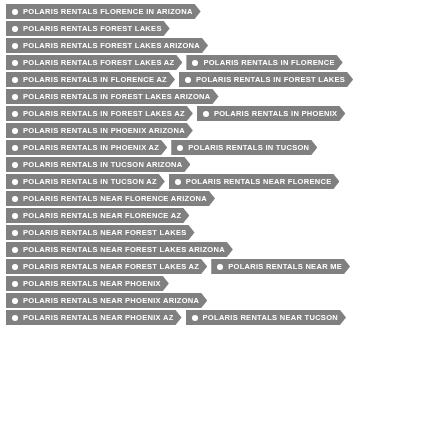POLARIS RENTALS FLORENCE IN ARIZONA
POLARIS RENTALS FOREST LAKES
POLARIS RENTALS FOREST LAKES ARIZONA
POLARIS RENTALS FOREST LAKES AZ
POLARIS RENTALS IN FLORENCE
POLARIS RENTALS IN FLORENCE AZ
POLARIS RENTALS IN FOREST LAKES
POLARIS RENTALS IN FOREST LAKES ARIZONA
POLARIS RENTALS IN FOREST LAKES AZ
POLARIS RENTALS IN PHOENIX
POLARIS RENTALS IN PHOENIX ARIZONA
POLARIS RENTALS IN PHOENIX AZ
POLARIS RENTALS IN TUCSON
POLARIS RENTALS IN TUCSON ARIZONA
POLARIS RENTALS IN TUCSON AZ
POLARIS RENTALS NEAR FLORENCE
POLARIS RENTALS NEAR FLORENCE ARIZONA
POLARIS RENTALS NEAR FLORENCE AZ
POLARIS RENTALS NEAR FOREST LAKES
POLARIS RENTALS NEAR FOREST LAKES ARIZONA
POLARIS RENTALS NEAR FOREST LAKES AZ
POLARIS RENTALS NEAR ME
POLARIS RENTALS NEAR PHOENIX
POLARIS RENTALS NEAR PHOENIX ARIZONA
POLARIS RENTALS NEAR PHOENIX AZ
POLARIS RENTALS NEAR TUCSON